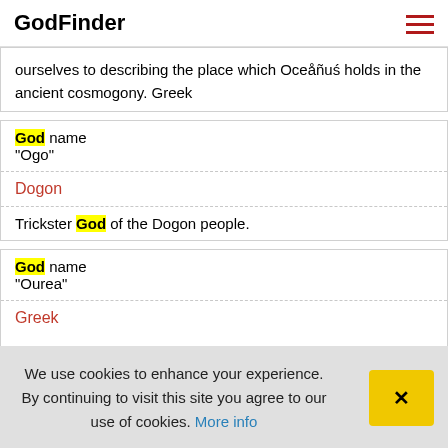GodFinder
ourselves to describing the place which Oceåñuś holds in the ancient cosmogony. Greek
God name "Ogo"
Dogon
Trickster God of the Dogon people.
God name "Ourea"
Greek
We use cookies to enhance your experience. By continuing to visit this site you agree to our use of cookies. More info